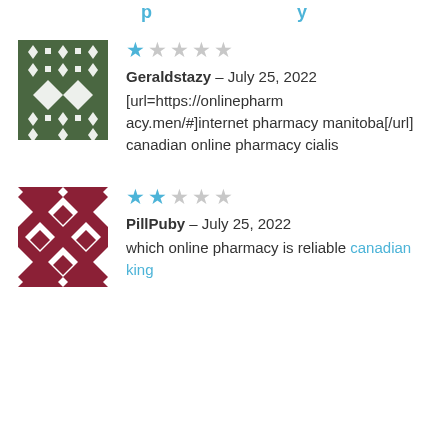[partial header text cut off at top]
[Figure (illustration): Green geometric pattern avatar for user Geraldstazy]
★☆☆☆☆ Geraldstazy – July 25, 2022 [url=https://onlinepharmacy.men/#]internet pharmacy manitoba[/url] canadian online pharmacy cialis
[Figure (illustration): Red/maroon geometric diamond pattern avatar for user PillPuby]
★★☆☆☆ PillPuby – July 25, 2022 which online pharmacy is reliable canadian king